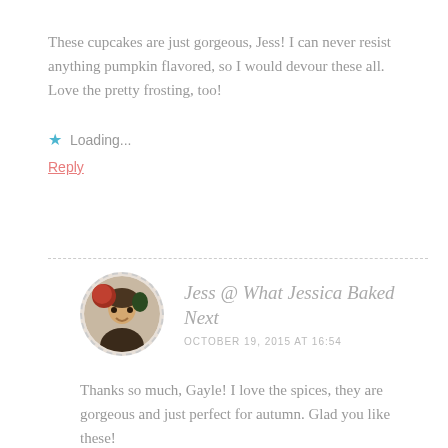These cupcakes are just gorgeous, Jess! I can never resist anything pumpkin flavored, so I would devour these all. Love the pretty frosting, too!
Loading...
Reply
Jess @ What Jessica Baked Next
OCTOBER 19, 2015 AT 16:54
Thanks so much, Gayle! I love the spices, they are gorgeous and just perfect for autumn. Glad you like these!